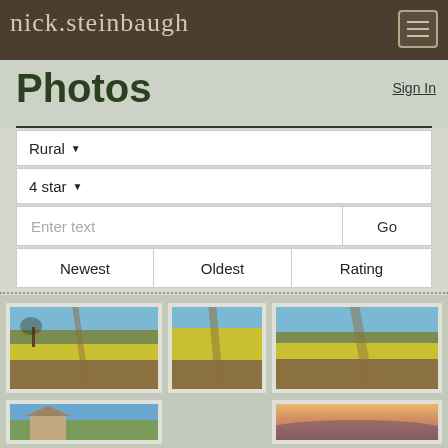nick.steinbaugh
Photos
Sign In
Rural ▾
4 star ▾
Enter text
Go
Newest
Oldest
Rating
[Figure (photo): Yellow canola field with dirt path and tree, rolling brown hills in background]
[Figure (photo): Yellow canola field with dirt path running through center]
[Figure (photo): Yellow canola field with dirt path and rolling hills]
[Figure (photo): Old weathered barn on green hillside under blue sky]
[Figure (photo): Hazy mountain range at sunset with warm orange and pink tones]